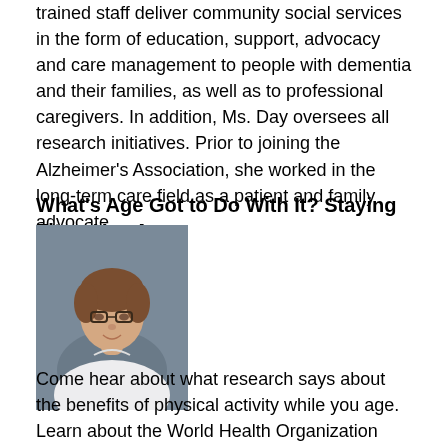trained staff deliver community social services in the form of education, support, advocacy and care management to people with dementia and their families, as well as to professional caregivers. In addition, Ms. Day oversees all research initiatives. Prior to joining the Alzheimer's Association, she worked in the long-term care field as a patient and family advocate.
What's Age Got to Do With It? Staying Fit as You Age
[Figure (photo): Headshot of a woman with short brown hair wearing glasses and a white top, against a blue-grey background.]
Come hear about what research says about the benefits of physical activity while you age. Learn about the World Health Organization guidelines for exercise and activity specific to aging, while discussing how you can fit these into your